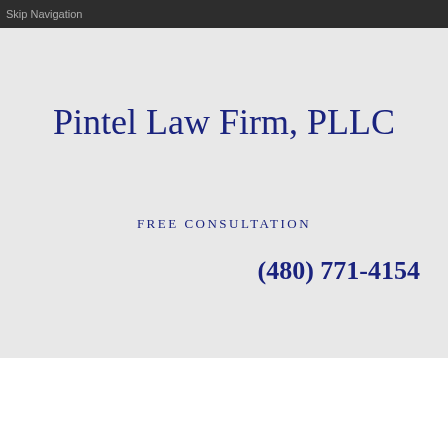Skip Navigation
Pintel Law Firm, PLLC
FREE CONSULTATION
(480) 771-4154